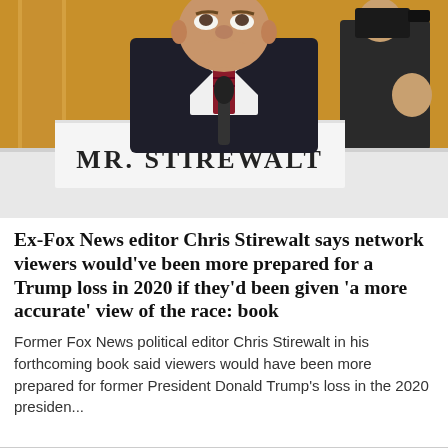[Figure (photo): A heavyset man in a dark suit and striped tie looks upward, seated at a hearing table. A name placard reading 'MR. STIREWALT' is visible in front of him. A camera operator is visible in the background to the right. The setting appears to be a congressional hearing room with ornate gold-colored walls.]
Ex-Fox News editor Chris Stirewalt says network viewers would've been more prepared for a Trump loss in 2020 if they'd been given 'a more accurate' view of the race: book
Former Fox News political editor Chris Stirewalt in his forthcoming book said viewers would have been more prepared for former President Donald Trump's loss in the 2020 presiden...